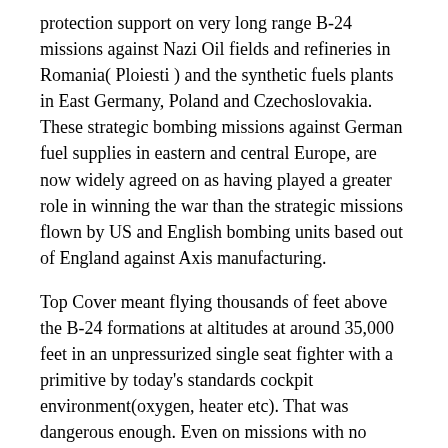protection support on very long range B-24 missions against Nazi Oil fields and refineries in Romania( Ploiesti ) and the synthetic fuels plants in East Germany, Poland and Czechoslovakia. These strategic bombing missions against German fuel supplies in eastern and central Europe, are now widely agreed on as having played a greater role in winning the war than the strategic missions flown by US and English bombing units based out of England against Axis manufacturing.
Top Cover meant flying thousands of feet above the B-24 formations at altitudes at around 35,000 feet in an unpressurized single seat fighter with a primitive by today's standards cockpit environment(oxygen, heater etc). That was dangerous enough. Even on missions with no aerial combat it's likely Tuskegee airman died or were captured simply due to the mechanical or cockpit environment failures.
The job of the Tuskegee was to provide protection against the limited number of German high altitude fighters like the Dora